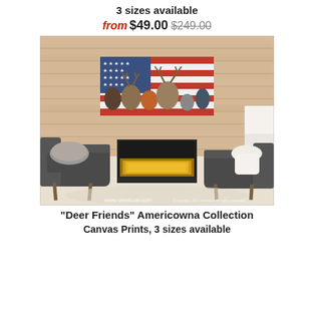3 sizes available
from $49.00 $249.00
[Figure (photo): Room scene showing a canvas print of 'Deer Friends' Americowna Collection artwork (deer, fox, raccoon, turkey, and other animals in front of an American flag) displayed above a fireplace flanked by two dark armchairs. Watermark reads www.steelcow.com]
"Deer Friends" Americowna Collection
Canvas Prints, 3 sizes available